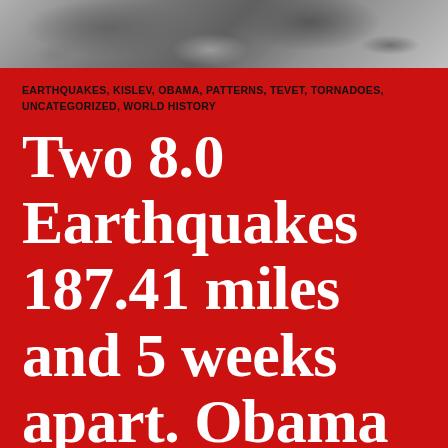[Figure (photo): Grayscale photo strip at top of page, appears to show people, cropped to a horizontal band]
EARTHQUAKES, KISLEV, OBAMA, PATTERNS, TEVET, TORNADOES, UNCATEGORIZED, WORLD HISTORY
Two 8.0 Earthquakes 187.41 miles and 5 weeks apart. Obama in turbulent weather. Freak